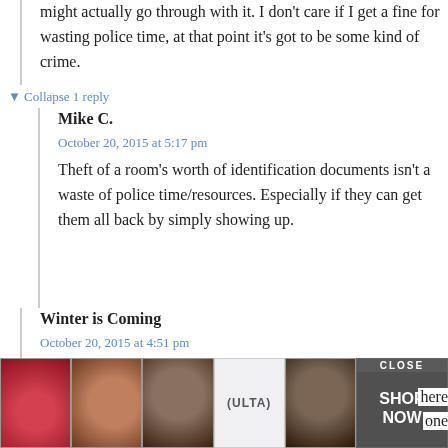might actually go through with it. I don't care if I get a fine for wasting police time, at that point it's got to be some kind of crime.
▼ Collapse 1 reply
Mike C.
October 20, 2015 at 5:17 pm
Theft of a room's worth of identification documents isn't a waste of police time/resources. Especially if they can get them all back by simply showing up.
Winter is Coming
October 20, 2015 at 4:51 pm
That in and of itself would be a real f... here ... one
[Figure (other): Ulta Beauty advertisement banner with makeup imagery and SHOP NOW call to action, with CLOSE button]